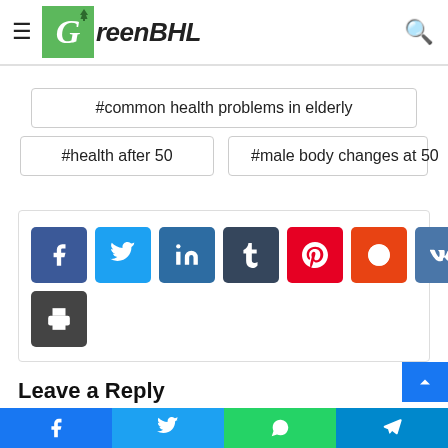GreenBHL
#50 year old male health issues
age 50 what to expect
#common health problems in elderly
#health after 50
#male body changes at 50
[Figure (other): Social share icons: Facebook, Twitter, LinkedIn, Tumblr, Pinterest, Reddit, VK, Email, Print]
Leave a Reply
Your email address will not be published. Required fields are marked
Social share bar: Facebook, Twitter, WhatsApp, Telegram